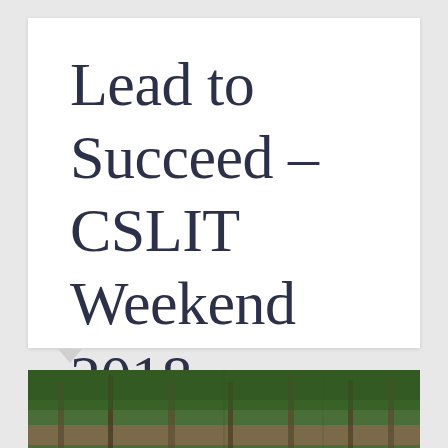Lead to Succeed – CSLIT Weekend 2018
[Figure (photo): Outdoor photo showing dense green forest trees with trunks visible, taken from below looking up or at eye level, appears to be a camp or retreat setting]